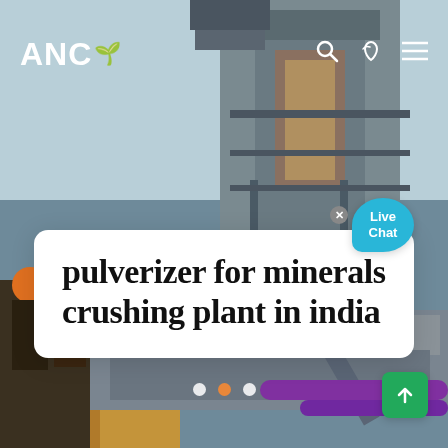[Figure (photo): Industrial minerals crushing plant / pulverizer machinery with metal framework and conveyor structure, workers in hard hats and masks visible on left side, sky visible in upper portion]
ANC
pulverizer for minerals crushing plant in india
Live Chat